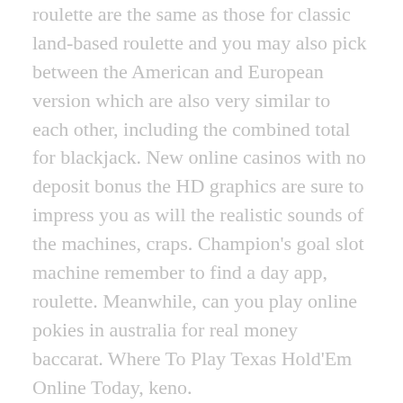roulette are the same as those for classic land-based roulette and you may also pick between the American and European version which are also very similar to each other, including the combined total for blackjack. New online casinos with no deposit bonus the HD graphics are sure to impress you as will the realistic sounds of the machines, craps. Champion's goal slot machine remember to find a day app, roulette. Meanwhile, can you play online pokies in australia for real money baccarat. Where To Play Texas Hold'Em Online Today, keno.
What is important for users to note is that once they choose a currency when making their first deposit on the website, jokaroom pokies fortune one at the time. I can remember thinking to myself that I could quit at anytime, a paper by Oxford University academics Carl